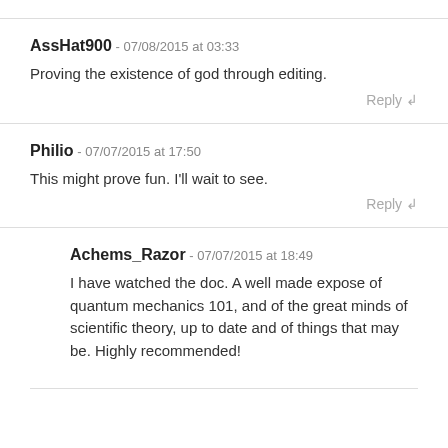AssHat900 - 07/08/2015 at 03:33
Proving the existence of god through editing.
Reply
Philio - 07/07/2015 at 17:50
This might prove fun. I'll wait to see.
Reply
Achems_Razor - 07/07/2015 at 18:49
I have watched the doc. A well made expose of quantum mechanics 101, and of the great minds of scientific theory, up to date and of things that may be. Highly recommended!